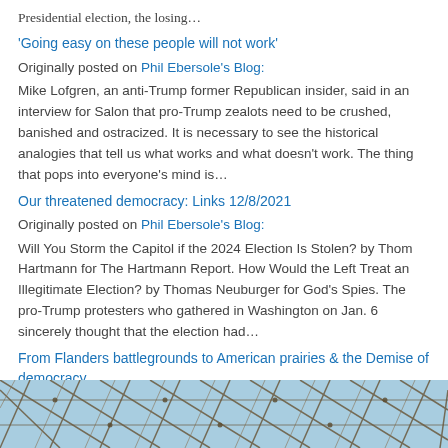Presidential election, the losing…
'Going easy on these people will not work'
Originally posted on Phil Ebersole's Blog:
Mike Lofgren, an anti-Trump former Republican insider, said in an interview for Salon that pro-Trump zealots need to be crushed, banished and ostracized. It is necessary to see the historical analogies that tell us what works and what doesn't work.  The thing that pops into everyone's mind is…
Our threatened democracy: Links 12/8/2021
Originally posted on Phil Ebersole's Blog:
Will You Storm the Capitol if the 2024 Election Is Stolen? by Thom Hartmann for The Hartmann Report.  How Would the Left Treat an Illegitimate Election? by Thomas Neuburger for God's Spies. The pro-Trump protesters who gathered in Washington on Jan. 6 sincerely thought that the election had…
From Flanders battlegrounds to American prairies & the Demise of democracy
[Figure (photo): Photo showing a wire fence or netting against a light blue sky]